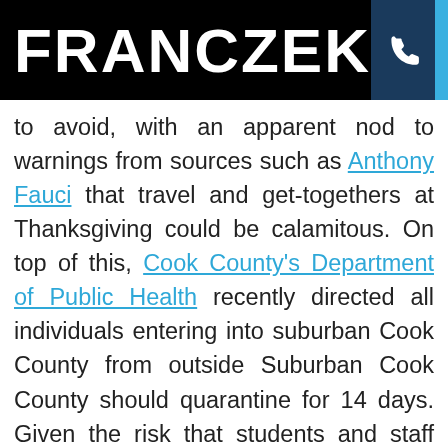FRANCZEK
to avoid, with an apparent nod to warnings from sources such as Anthony Fauci that travel and get-togethers at Thanksgiving could be calamitous. On top of this, Cook County's Department of Public Health recently directed all individuals entering into suburban Cook County from outside Suburban Cook County should quarantine for 14 days. Given the risk that students and staff exposed to the virus at home or at gatherings outside of work may bring the virus with them when they return to work or school, or be required to quarantine even if they do not